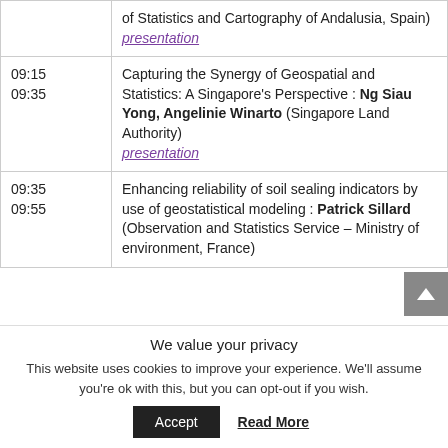| Time | Description |
| --- | --- |
|  | of Statistics and Cartography of Andalusia, Spain) presentation |
| 09:15
09:35 | Capturing the Synergy of Geospatial and Statistics: A Singapore's Perspective : Ng Siau Yong, Angelinie Winarto (Singapore Land Authority) presentation |
| 09:35
09:55 | Enhancing reliability of soil sealing indicators by use of geostatistical modeling : Patrick Sillard (Observation and Statistics Service – Ministry of environment, France) |
We value your privacy
This website uses cookies to improve your experience. We'll assume you're ok with this, but you can opt-out if you wish.